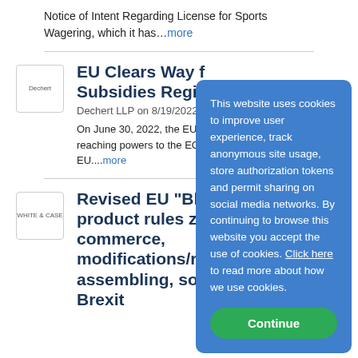Notice of Intent Regarding License for Sports Wagering, which it has…more
EU Clears Way f... Subsidies Regi...
Dechert LLP on 8/19/2022
On June 30, 2022, the EU in... agreement on the text for th... reaching powers to the EC t... by non-EU governments to ... EU....more
[Figure (logo): Dechert logo in a small bordered box]
This website uses cookies to improve user experience, track anonymous site usage, store authorization tokens and permit sharing on social media networks. By continuing to browse this website you accept the use of cookies. Click here to read more about how we use cookies.
Continue
[Figure (logo): White & Case logo in a small bordered box]
Revised EU "Blu... product rules zo... commerce, modifications/re... assembling, software and Brexit